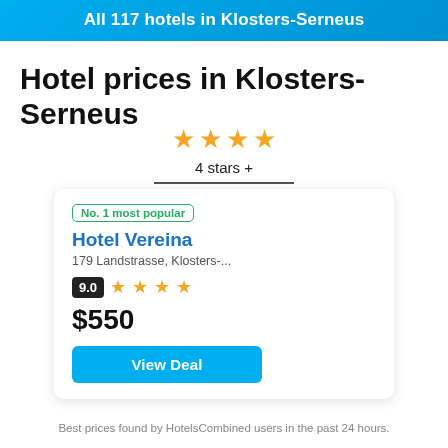All 117 hotels in Klosters-Serneus
Hotel prices in Klosters-Serneus
4 stars +
No. 1 most popular
Hotel Vereina
179 Landstrasse, Klosters-...
9.0 ★★★★
$550
View Deal
Best prices found by HotelsCombined users in the past 24 hours.